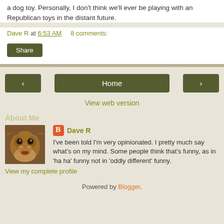a dog toy. Personally, I don't think we'll ever be playing with an Republican toys in the distant future.
Dave R at 6:53 AM    8 comments:
Share
< Home >
View web version
About Me
[Figure (photo): Profile photo of a dog (bulldog/pug) close-up face]
Dave R
I've been told I'm very opinionated. I pretty much say what's on my mind. Some people think that's funny, as in 'ha ha' funny not in 'oddly different' funny.
View my complete profile
Powered by Blogger.